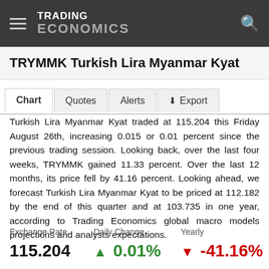TRADING ECONOMICS
TRYMMK Turkish Lira Myanmar Kyat
Chart   Quotes   Alerts   Export
Turkish Lira Myanmar Kyat traded at 115.204 this Friday August 26th, increasing 0.015 or 0.01 percent since the previous trading session. Looking back, over the last four weeks, TRYMMK gained 11.33 percent. Over the last 12 months, its price fell by 41.16 percent. Looking ahead, we forecast Turkish Lira Myanmar Kyat to be priced at 112.182 by the end of this quarter and at 103.735 in one year, according to Trading Economics global macro models projections and analysts expectations.
| Exchange Rate | Daily Change | Yearly |
| --- | --- | --- |
| 115.204 | ▲ 0.01% | ▼ -41.16% |